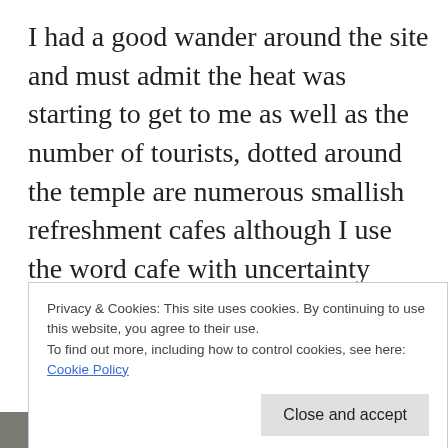I had a good wander around the site and must admit the heat was starting to get to me as well as the number of tourists, dotted around the temple are numerous smallish refreshment cafes although I use the word cafe with uncertainty since they don't look anything like their European counterparts. In need of cooling down and some sort of refreshment, I
Privacy & Cookies: This site uses cookies. By continuing to use this website, you agree to their use.
To find out more, including how to control cookies, see here: Cookie Policy
Close and accept
[Figure (photo): Bottom strip of a photo showing a dark/grey background with a yellow object visible]